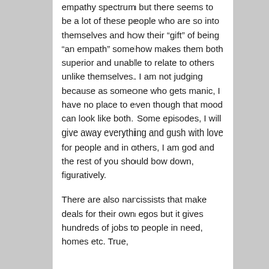empathy spectrum but there seems to be a lot of these people who are so into themselves and how their “gift” of being “an empath” somehow makes them both superior and unable to relate to others unlike themselves. I am not judging because as someone who gets manic, I have no place to even though that mood can look like both. Some episodes, I will give away everything and gush with love for people and in others, I am god and the rest of you should bow down, figuratively.
There are also narcissists that make deals for their own egos but it gives hundreds of jobs to people in need, homes etc. True,